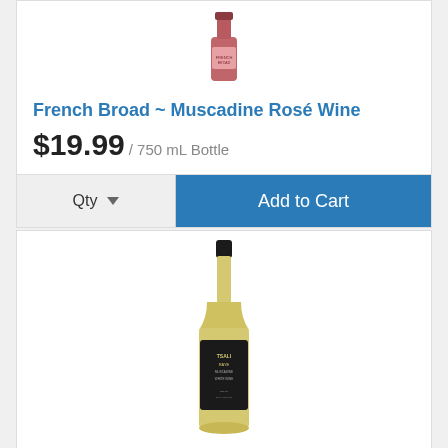[Figure (photo): Rose wine bottle (French Broad Muscadine Rosé) shown from top portion, partially cropped]
French Broad ~ Muscadine Rosé Wine
$19.99 / 750 mL Bottle
Qty  ▼   Add to Cart
[Figure (photo): Tsali brand white/golden wine bottle with black label and black cap]